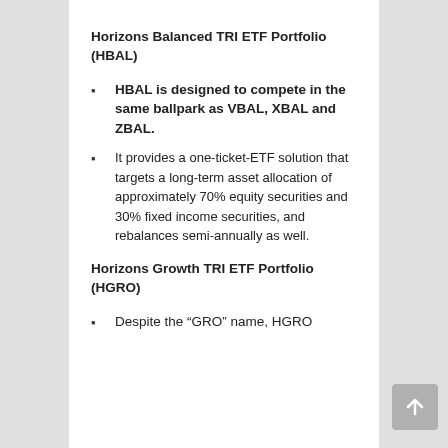Horizons Balanced TRI ETF Portfolio (HBAL)
HBAL is designed to compete in the same ballpark as VBAL, XBAL and ZBAL.
It provides a one-ticket-ETF solution that targets a long-term asset allocation of approximately 70% equity securities and 30% fixed income securities, and rebalances semi-annually as well.
Horizons Growth TRI ETF Portfolio (HGRO)
Despite the “GRO” name, HGRO